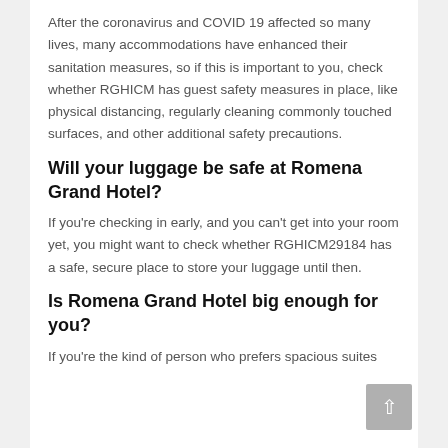After the coronavirus and COVID 19 affected so many lives, many accommodations have enhanced their sanitation measures, so if this is important to you, check whether RGHICM has guest safety measures in place, like physical distancing, regularly cleaning commonly touched surfaces, and other additional safety precautions.
Will your luggage be safe at Romena Grand Hotel?
If you're checking in early, and you can't get into your room yet, you might want to check whether RGHICM29184 has a safe, secure place to store your luggage until then.
Is Romena Grand Hotel big enough for you?
If you're the kind of person who prefers spacious suites